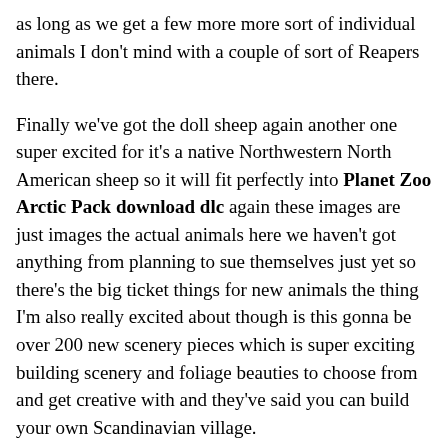as long as we get a few more more sort of individual animals I don't mind with a couple of sort of Reapers there.
Finally we've got the doll sheep again another one super excited for it's a native Northwestern North American sheep so it will fit perfectly into Planet Zoo Arctic Pack download dlc again these images are just images the actual animals here we haven't got anything from planning to sue themselves just yet so there's the big ticket things for new animals the thing I'm also really excited about though is this gonna be over 200 new scenery pieces which is super exciting building scenery and foliage beauties to choose from and get creative with and they've said you can build your own Scandinavian village.
The one image they show here they're showing off the some of the ice blocks well it looks like the ice